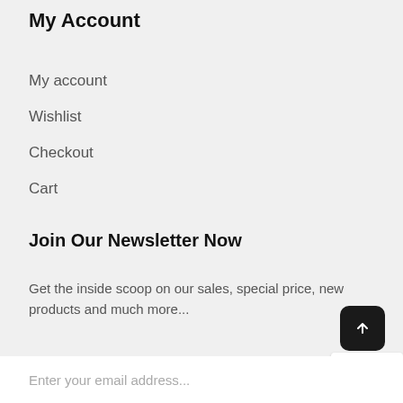My Account
My account
Wishlist
Checkout
Cart
Join Our Newsletter Now
Get the inside scoop on our sales, special price, new products and much more...
Enter your email address...